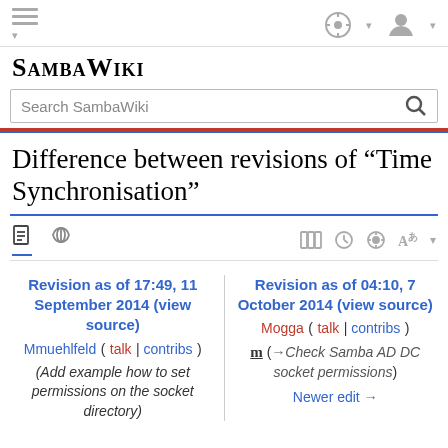SambaWiki
Difference between revisions of "Time Synchronisation"
Revision as of 17:49, 11 September 2014 (view source)
Mmuehlfeld (talk | contribs)
(Add example how to set permissions on the socket directory)
Revision as of 04:10, 7 October 2014 (view source)
Mogga (talk | contribs)
m (→Check Samba AD DC socket permissions)
Newer edit →